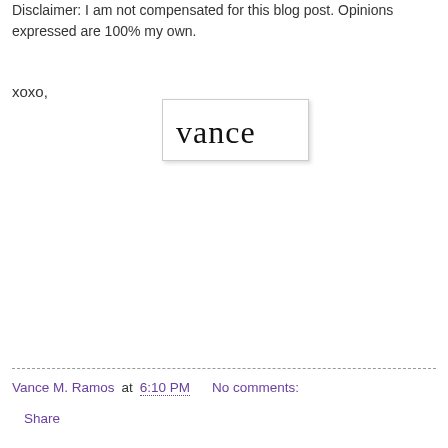Disclaimer: I am not compensated for this blog post. Opinions expressed are 100% my own.
xoxo,
[Figure (illustration): Handwritten signature reading 'vance' inside a white box with light border and shadow]
Vance M. Ramos at 6:10 PM   No comments:
Share